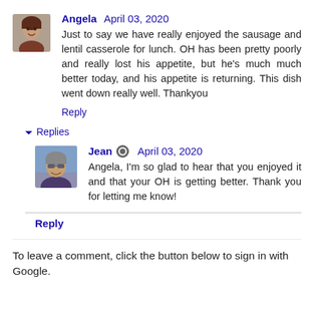Angela April 03, 2020
Just to say we have really enjoyed the sausage and lentil casserole for lunch. OH has been pretty poorly and really lost his appetite, but he's much much better today, and his appetite is returning. This dish went down really well. Thankyou
Reply
Replies
Jean April 03, 2020
Angela, I'm so glad to hear that you enjoyed it and that your OH is getting better. Thank you for letting me know!
Reply
To leave a comment, click the button below to sign in with Google.